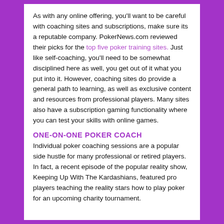As with any online offering, you'll want to be careful with coaching sites and subscriptions, make sure its a reputable company. PokerNews.com reviewed their picks for the top five poker training sites. Just like self-coaching, you'll need to be somewhat disciplined here as well, you get out of it what you put into it. However, coaching sites do provide a general path to learning, as well as exclusive content and resources from professional players. Many sites also have a subscription gaming functionality where you can test your skills with online games.
ONE-ON-ONE POKER COACH
Individual poker coaching sessions are a popular side hustle for many professional or retired players. In fact, a recent episode of the popular reality show, Keeping Up With The Kardashians, featured pro players teaching the reality stars how to play poker for an upcoming charity tournament.